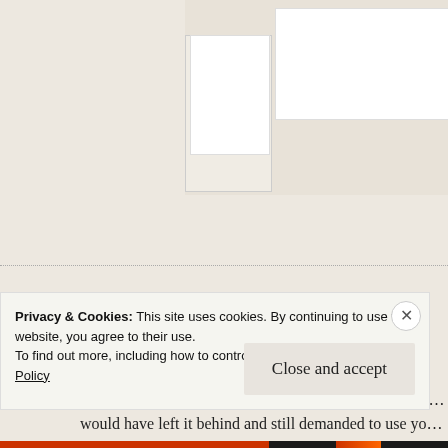[Figure (screenshot): Partial view of a blog post page top area with white content blocks on a beige background]
A @ moylomenterprises | July 30, 2015 at 6:20 pm
This story gets more interesting with each installment!
I'm now beginning to wonder even if you had asked th... would have left it behind and still demanded to use yo...
If I'm going to visit relatives I bring everything in thin... ...lco
Privacy & Cookies: This site uses cookies. By continuing to use this website, you agree to their use.
To find out more, including how to control cookies, see here: Cookie Policy
Close and accept